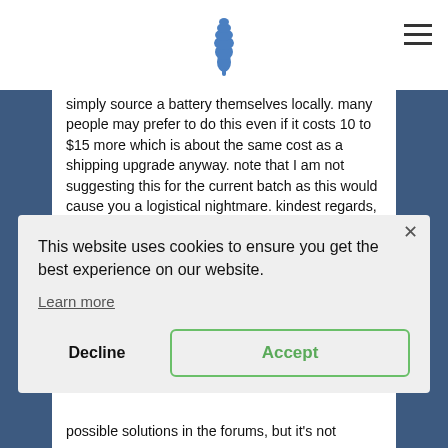[Figure (logo): Pine cone / leaf logo in blue]
simply source a battery themselves locally. many people may prefer to do this even if it costs 10 to $15 more which is about the same cost as a shipping upgrade anyway. note that I am not suggesting this for the current batch as this would cause you a logistical nightmare. kindest regards, great project
Reply
This website uses cookies to ensure you get the best experience on our website.
Learn more
Decline
Accept
possible solutions in the forums, but it's not